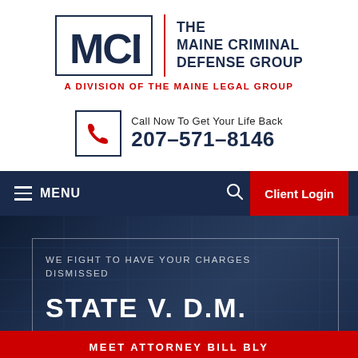[Figure (logo): MCD The Maine Criminal Defense Group logo with red divider]
A DIVISION OF THE MAINE LEGAL GROUP
Call Now To Get Your Life Back 207-571-8146
MENU  Client Login
STATE V. D.M.
WE FIGHT TO HAVE YOUR CHARGES DISMISSED
MEET ATTORNEY BILL BLY